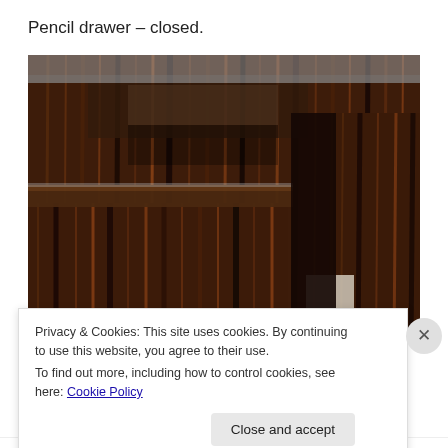Pencil drawer – closed.
[Figure (photo): Close-up photo of a wooden pencil drawer with dark striped wood grain (macassar ebony style), shown in the closed position. The drawer has a flat top surface and the wood grain pattern is visible on all sides.]
Privacy & Cookies: This site uses cookies. By continuing to use this website, you agree to their use.
To find out more, including how to control cookies, see here: Cookie Policy